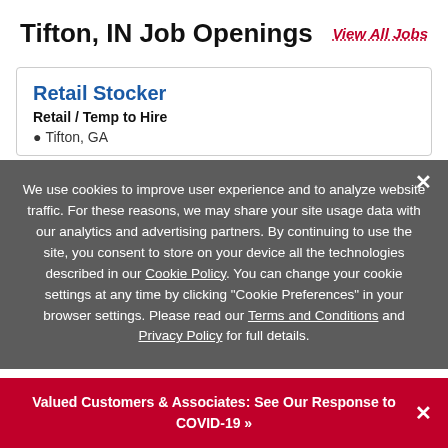Tifton, IN Job Openings
View All Jobs
Retail Stocker
Retail / Temp to Hire
Tifton, GA
We use cookies to improve user experience and to analyze website traffic. For these reasons, we may share your site usage data with our analytics and advertising partners. By continuing to use the site, you consent to store on your device all the technologies described in our Cookie Policy. You can change your cookie settings at any time by clicking "Cookie Preferences" in your browser settings. Please read our Terms and Conditions and Privacy Policy for full details.
Valued Customers & Associates: See Our Response to COVID-19 »